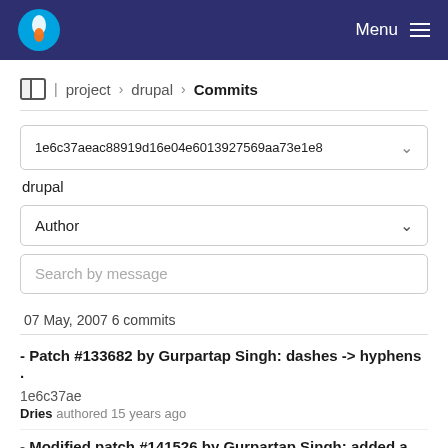Menu
project > drupal > Commits
1e6c37aeac88919d16e04e6013927569aa73e1e8
drupal
Author
Search by message
07 May, 2007 6 commits
- Patch #133682 by Gurpartap Singh: dashes -> hyphens · 1e6c37ae
Dries authored 15 years ago
- Modified patch #141526 by Gurpartap Singh: added a filter form on the path alias table · 68c7009a